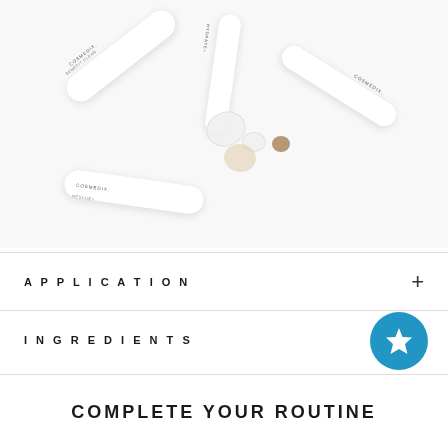[Figure (photo): Flat lay of multiple white COSMEDIX skincare product tubes and bottles arranged on a white background with liquid drops (white cream and amber serum) spilled in the center. Products include BENEFIT CLEAN, HYDRATE+, RESCUE+, and COSMEDIX branded items.]
APPLICATION
INGREDIENTS
COMPLETE YOUR ROUTINE